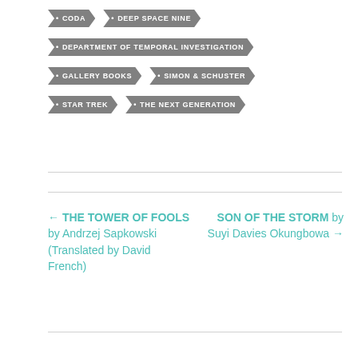• CODA
• DEEP SPACE NINE
• DEPARTMENT OF TEMPORAL INVESTIGATION
• GALLERY BOOKS
• SIMON & SCHUSTER
• STAR TREK
• THE NEXT GENERATION
← THE TOWER OF FOOLS by Andrzej Sapkowski (Translated by David French)
SON OF THE STORM by Suyi Davies Okungbowa →